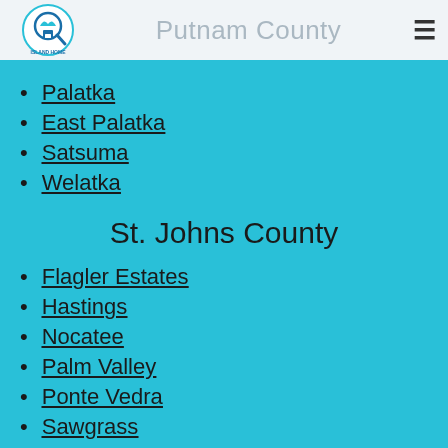Putnam County
Palatka
East Palatka
Satsuma
Welatka
St. Johns County
Flagler Estates
Hastings
Nocatee
Palm Valley
Ponte Vedra
Sawgrass